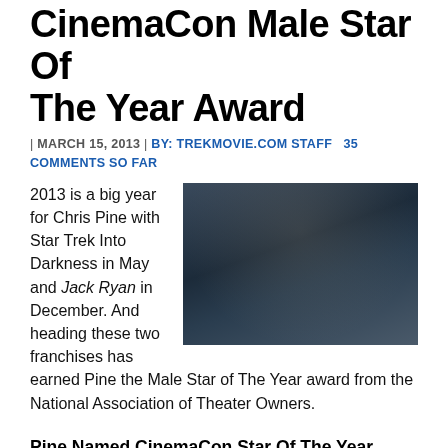CinemaCon Male Star Of The Year Award
| MARCH 15, 2013 | BY: TREKMOVIE.COM STAFF   35 COMMENTS SO FAR
2013 is a big year for Chris Pine with Star Trek Into Darkness in May and Jack Ryan in December. And heading these two franchises has earned Pine the Male Star of The Year award from the National Association of Theater Owners.
[Figure (photo): Close-up photo of actor Chris Pine with blue eyes, dark background]
Pine Named CinemaCon Star Of The Year
The National Association of Theater Owners has announced that Star Trek Into Darkness star Chris